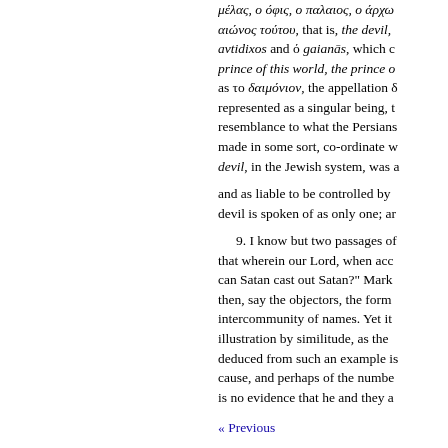μέλας, ο όφις, ο παλαιος, ο άρχω αιώνος τούτου, that is, the devil, avtidixos and ό gaianās, which c prince of this world, the prince o as το δαιμόνιον, the appellation δ represented as a singular being, t resemblance to what the Persians made in some sort, co-ordinate w devil, in the Jewish system, was a
and as liable to be controlled by devil is spoken of as only one; ar
9. I know but two passages of that wherein our Lord, when acc can Satan cast out Satan?" Mark then, say the objectors, the forme intercommunity of names. Yet it illustration by similitude, as the deduced from such an example is cause, and perhaps of the numbe is no evidence that he and they a
The other passage is in Luke 1
« Previous